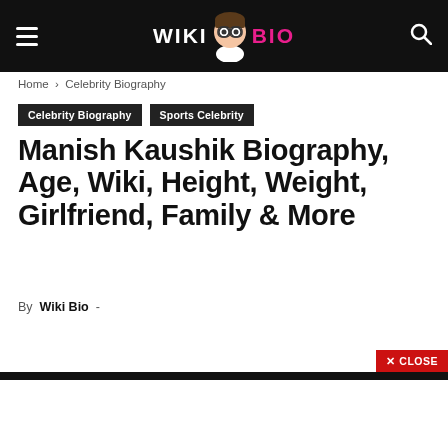WIKI BIO
Home › Celebrity Biography
Celebrity Biography
Sports Celebrity
Manish Kaushik Biography, Age, Wiki, Height, Weight, Girlfriend, Family & More
By Wiki Bio -